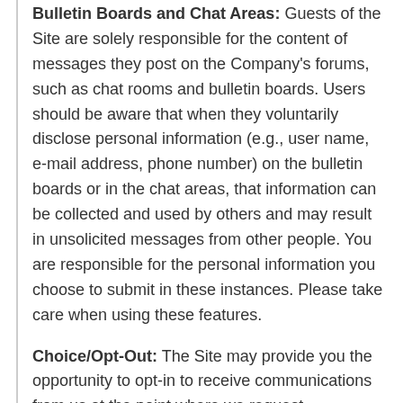Bulletin Boards and Chat Areas: Guests of the Site are solely responsible for the content of messages they post on the Company's forums, such as chat rooms and bulletin boards. Users should be aware that when they voluntarily disclose personal information (e.g., user name, e-mail address, phone number) on the bulletin boards or in the chat areas, that information can be collected and used by others and may result in unsolicited messages from other people. You are responsible for the personal information you choose to submit in these instances. Please take care when using these features.
Choice/Opt-Out: The Site may provide you the opportunity to opt-in to receive communications from us at the point where we request